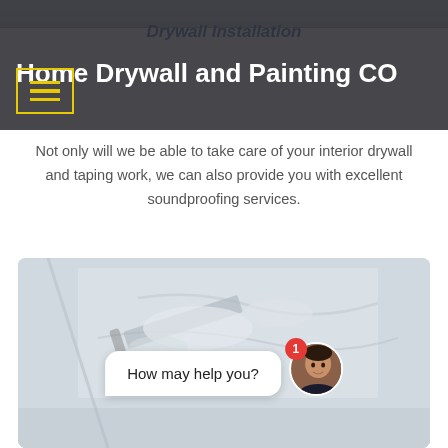[Figure (screenshot): Top strip of a website screenshot showing a construction/drywall service website]
Home Drywall and Painting CO
Drywall Installation
Not only will we be able to take care of your interior drywall and taping work, we can also provide you with excellent soundproofing services.
[Figure (photo): Close-up photo of drywall taping and finishing work with a trowel/knife being applied to white drywall surface]
How may help you?